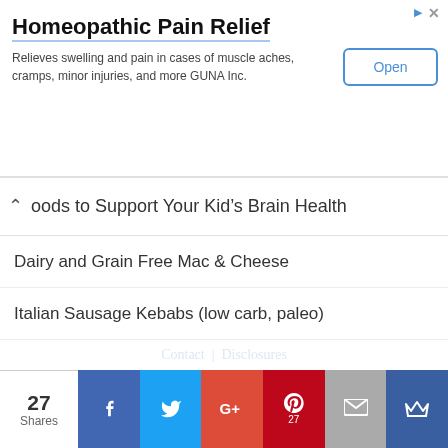[Figure (screenshot): Advertisement banner for Homeopathic Pain Relief product by GUNA Inc. with Open button]
Foods to Support Your Kid's Brain Health
Dairy and Grain Free Mac & Cheese
Italian Sausage Kebabs (low carb, paleo)
Contact | Disclosures
© Cindy Hilliard Nutrition
[Figure (screenshot): Social share bar with 27 shares, Facebook, Twitter, Google+, Pinterest (27), Email, and crown icon buttons]